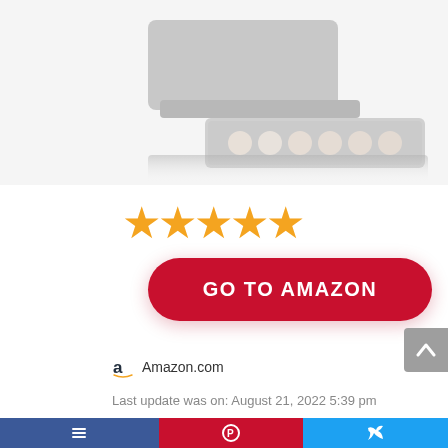[Figure (photo): Product photo of a coffee machine pod holder/drawer with K-cup pods visible, shown in light gray tones, partially cropped at the top of the page]
[Figure (other): Five gold/orange star rating icons indicating a 5-star review]
GO TO AMAZON
Amazon.com
Last update was on: August 21, 2022 5:39 pm